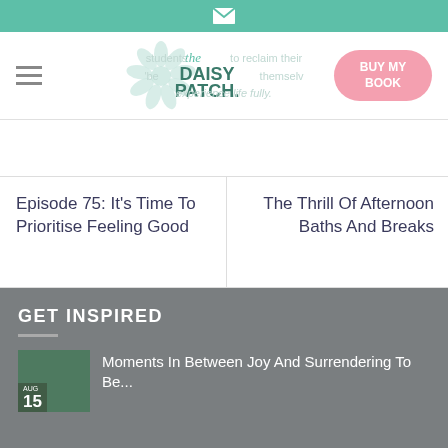The Daisy Patch – navigation bar with logo and BUY MY BOOK button
students to reclaim their 'best' selves and experience life fully.
Episode 75: It's Time To Prioritise Feeling Good
The Thrill Of Afternoon Baths And Breaks
GET INSPIRED
Moments In Between Joy And Surrendering To Be...